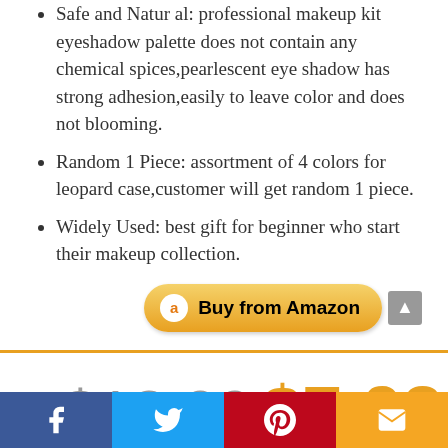Safe and Natural: professional makeup kit eyeshadow palette does not contain any chemical spices,pearlescent eye shadow has strong adhesion,easily to leave color and does not blooming.
Random 1 Piece: assortment of 4 colors for leopard case,customer will get random 1 piece.
Widely Used: best gift for beginner who start their makeup collection.
or $13.99 $7.98